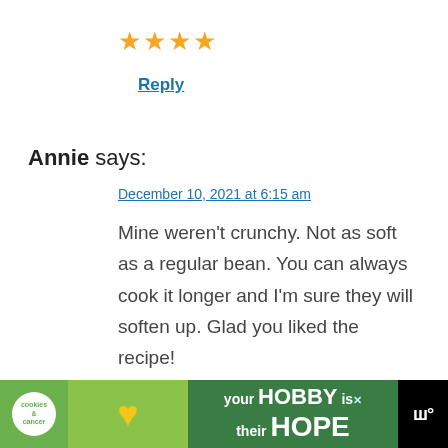[Figure (other): 4 gold/yellow star rating icons]
Reply
Annie says:
December 10, 2021 at 6:15 am
Mine weren't crunchy. Not as soft as a regular bean. You can always cook it longer and I'm sure they will soften up. Glad you liked the recipe!
[Figure (infographic): Advertisement banner: cookies and cancer logo, hands holding a heart-shaped cookie, text 'your HOBBY is their HOPE', with close button and brand logo]